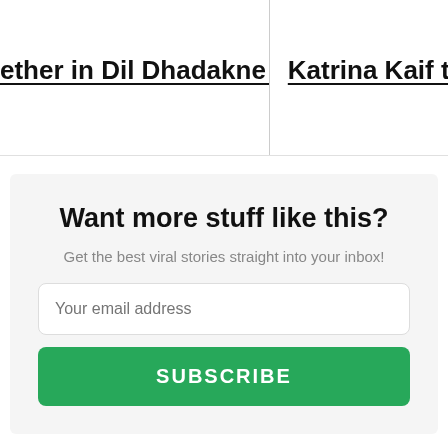ether in Dil Dhadakne Do
Katrina Kaif to Tie
Want more stuff like this?
Get the best viral stories straight into your inbox!
Your email address
SUBSCRIBE
Share
Tweet
Send